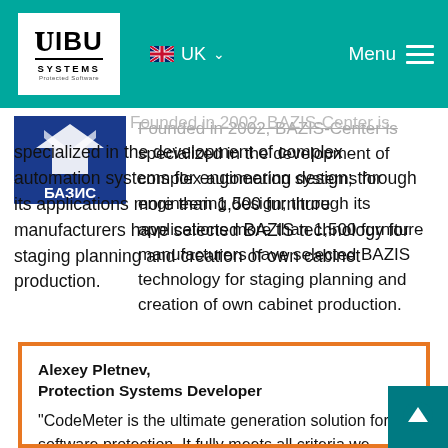WIBU SYSTEMS | UK | Menu
[Figure (logo): BAZIS-Center company logo with blue stylized arrows and Cyrillic text БАЗИС]
Founded in 2002, BAZIS-Center is specialized in the development of complex automation systems for engineering design; through its applications more than 1,500 furniture manufacturers have selected BAZIS technology for staging planning and creation of own cabinet production.
Alexey Pletnev,
Protection Systems Developer
"CodeMeter is the ultimate generation solution for software protection. It fully meets all criteria we jotted down when we started our quest for a protection system. The licensing platform we have qualified for our CAD/CAM software offers in fact cross-platform support, attack resilience, choice of